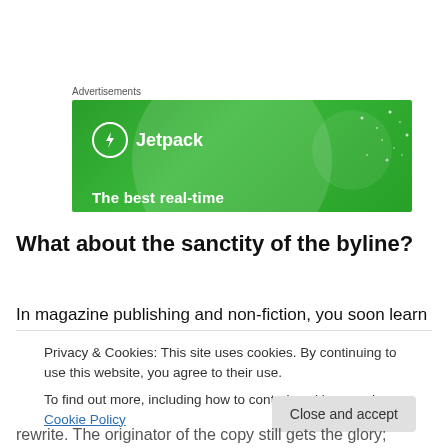Advertisements
[Figure (illustration): Jetpack advertisement banner with green background, Jetpack logo (lightning bolt in circle), and partial tagline 'The best real-time']
What about the sanctity of the byline?
In magazine publishing and non-fiction, you soon learn
Privacy & Cookies: This site uses cookies. By continuing to use this website, you agree to their use.
To find out more, including how to control cookies, see here: Cookie Policy
rewrite. The originator of the copy still gets the glory;